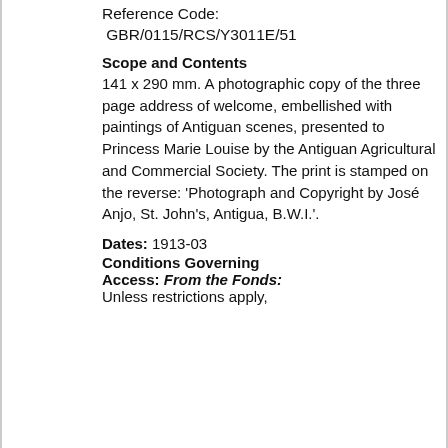Reference Code: GBR/0115/RCS/Y3011E/51
Scope and Contents
141 x 290 mm. A photographic copy of the three page address of welcome, embellished with paintings of Antiguan scenes, presented to Princess Marie Louise by the Antiguan Agricultural and Commercial Society. The print is stamped on the reverse: 'Photograph and Copyright by José Anjo, St. John's, Antigua, B.W.I.'.
Dates: 1913-03
Conditions Governing Access:
From the Fonds: Unless restrictions apply,